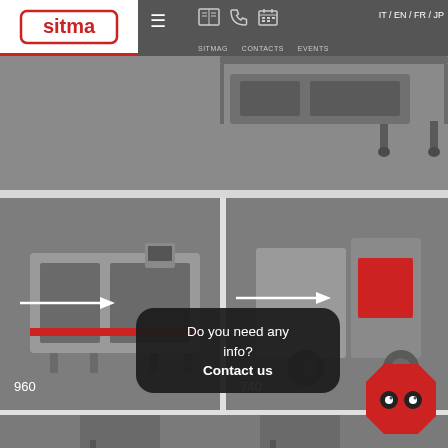[Figure (screenshot): Sitma website navigation bar with logo, hamburger menu, icons for magazine/contacts/events, language selector IT/EN/FR/JP, on dark grey background]
[Figure (photo): Top strip showing partial view of a Sitma industrial packaging machine on grey background]
[Figure (photo): Left card: Sitma model 960 industrial wrapping/packaging machine on grey background with white arrow overlay]
960
[Figure (photo): Right card: Sitma model 740 industrial wrapping/packaging machine on grey background with white arrow overlay]
740
Do you need any info? Contact us
[Figure (illustration): Red octagon mascot with cartoon eyes (Sitma chatbot/contact widget)]
[Figure (photo): Bottom strip showing another Sitma packaging machine partially visible]